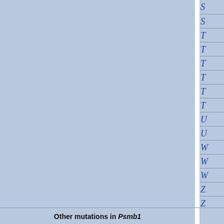| S |
| S |
| T |
| T |
| T |
| T |
| T |
| T |
| U |
| U |
| W |
| W |
| W |
| Z |
| Z |
Other mutations in Psmb1